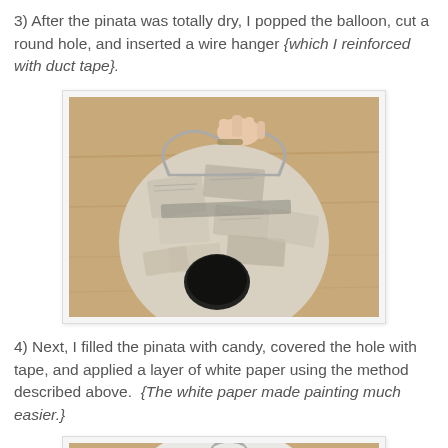3)  After the pinata was totally dry, I popped the balloon, cut a round hole, and inserted a wire hanger {which I reinforced with duct tape}.
[Figure (photo): A papier-mâché ball (pinata) covered in newspaper strips, with a round hole cut at the bottom and a wire hanger inserted at the top, held by a hand. Sits on a wooden surface.]
4)  Next, I filled the pinata with candy, covered the hole with tape, and applied a layer of white paper using the method described above.  {The white paper made painting much easier.}
[Figure (photo): Partial view of a white paper-covered pinata ball on a wooden surface, with a wire hanger visible at the top.]